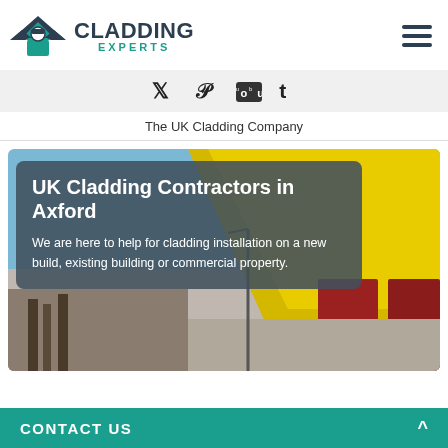CLADDING EXPERTS
🐦 📌 ▶ t (social media icons)
The UK Cladding Company
[Figure (photo): A commercial building with yellow and red cladding panels against a blue sky, with an overlay box containing heading and descriptive text]
UK Cladding Contractors in Axford
We are here to help for cladding installation on a new build, existing building or commercial property.
CONTACT US